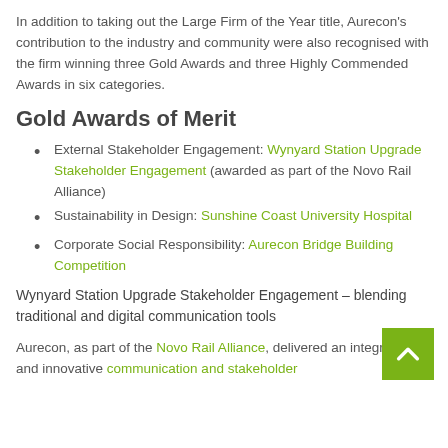In addition to taking out the Large Firm of the Year title, Aurecon's contribution to the industry and community were also recognised with the firm winning three Gold Awards and three Highly Commended Awards in six categories.
Gold Awards of Merit
External Stakeholder Engagement: Wynyard Station Upgrade Stakeholder Engagement (awarded as part of the Novo Rail Alliance)
Sustainability in Design: Sunshine Coast University Hospital
Corporate Social Responsibility: Aurecon Bridge Building Competition
Wynyard Station Upgrade Stakeholder Engagement – blending traditional and digital communication tools
Aurecon, as part of the Novo Rail Alliance, delivered an integrated and innovative communication and stakeholder